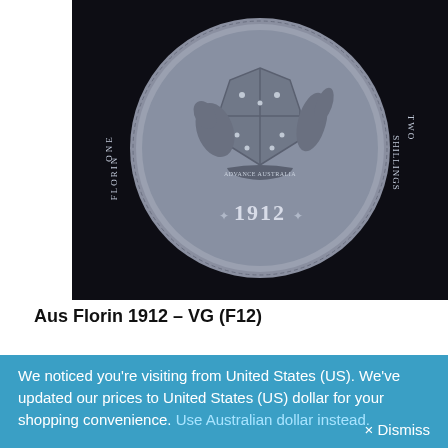[Figure (photo): Close-up photo of the reverse side of an Australian Florin coin from 1912, showing the Australian coat of arms with kangaroo and emu flanking a shield, the text 'ADVANCE AUSTRALIA' on a banner, and the date 1912 at the bottom. The coin appears silver-grey in color against a dark black background. The coin edge text reads 'ONE FLORIN TWO SHILLINGS'.]
Aus Florin 1912 – VG (F12)
We noticed you're visiting from United States (US). We've updated our prices to United States (US) dollar for your shopping convenience. Use Australian dollar instead.   × Dismiss